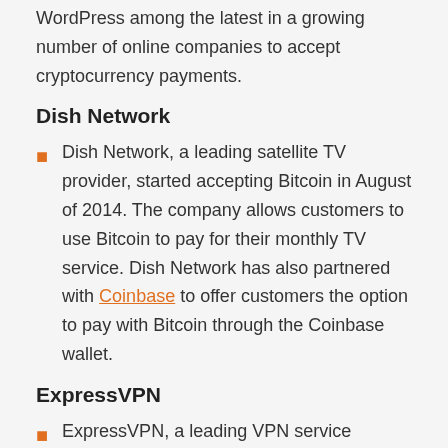WordPress among the latest in a growing number of online companies to accept cryptocurrency payments.
Dish Network
Dish Network, a leading satellite TV provider, started accepting Bitcoin in August of 2014. The company allows customers to use Bitcoin to pay for their monthly TV service. Dish Network has also partnered with Coinbase to offer customers the option to pay with Bitcoin through the Coinbase wallet.
ExpressVPN
ExpressVPN, a leading VPN service provider,